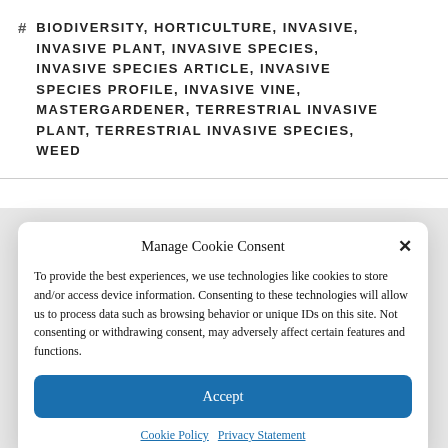# BIODIVERSITY, HORTICULTURE, INVASIVE, INVASIVE PLANT, INVASIVE SPECIES, INVASIVE SPECIES ARTICLE, INVASIVE SPECIES PROFILE, INVASIVE VINE, MASTERGARDENER, TERRESTRIAL INVASIVE PLANT, TERRESTRIAL INVASIVE SPECIES, WEED
Manage Cookie Consent
To provide the best experiences, we use technologies like cookies to store and/or access device information. Consenting to these technologies will allow us to process data such as browsing behavior or unique IDs on this site. Not consenting or withdrawing consent, may adversely affect certain features and functions.
Accept
Cookie Policy  Privacy Statement